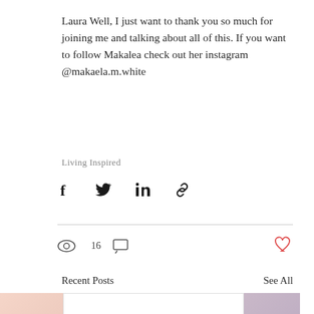Laura Well, I just want to thank you so much for joining me and talking about all of this. If you want to follow Makalea check out her instagram @makaela.m.white
Living Inspired
[Figure (infographic): Social share icons: Facebook, Twitter, LinkedIn, link/chain icon]
16 views, 0 comments, heart/like button
Recent Posts
See All
[Figure (illustration): Card preview showing 'Ep 13. Healthy Living With Brittany Lesser' with decorative colored side panels and a chat bubble icon]